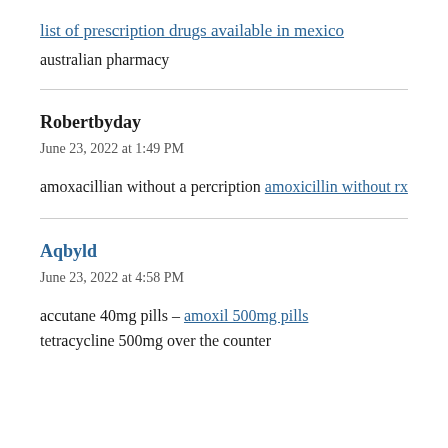list of prescription drugs available in mexico
australian pharmacy
Robertbyday
June 23, 2022 at 1:49 PM
amoxacillian without a percription amoxicillin without rx
Aqbyld
June 23, 2022 at 4:58 PM
accutane 40mg pills – amoxil 500mg pills tetracycline 500mg over the counter